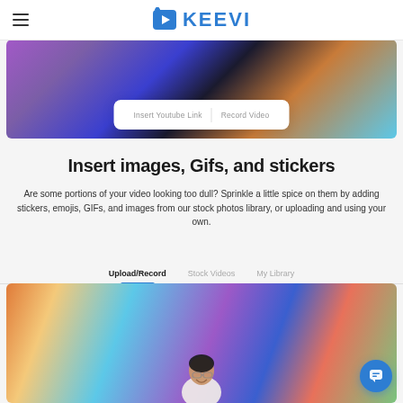KEEVI
[Figure (photo): Top banner image showing a person in front of colorful graffiti wall with purple, blue, and orange tones, with a toolbar card overlay showing 'Insert Youtube Link' and 'Record Video' options]
Insert images, Gifs, and stickers
Are some portions of your video looking too dull? Sprinkle a little spice on them by adding stickers, emojis, GIFs, and images from our stock photos library, or uploading and using your own.
[Figure (screenshot): Tab bar showing Upload/Record (active, with blue underline), Stock Videos, and My Library tabs]
[Figure (photo): Bottom image of a smiling woman with glasses in front of colorful graffiti wall]